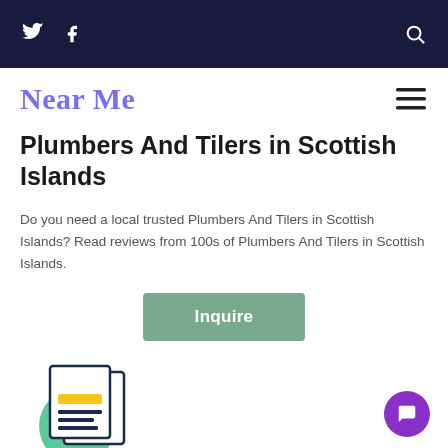Twitter | Facebook | Search
Near Me
Plumbers And Tilers in Scottish Islands
Do you need a local trusted Plumbers And Tilers in Scottish Islands? Read reviews from 100s of Plumbers And Tilers in Scottish Islands.
Inquire
[Figure (illustration): Document/newspaper icon with green circle background and yellow highlight bar]